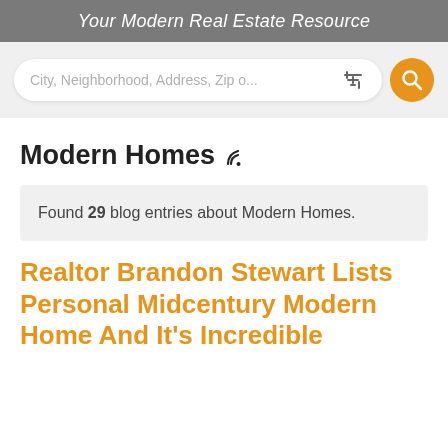Your Modern Real Estate Resource
City, Neighborhood, Address, Zip o...
Modern Homes
Found 29 blog entries about Modern Homes.
Realtor Brandon Stewart Lists Personal Midcentury Modern Home And It's Incredible